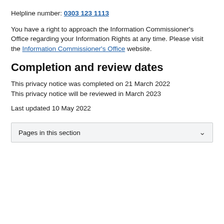Helpline number: 0303 123 1113
You have a right to approach the Information Commissioner's Office regarding your Information Rights at any time. Please visit the Information Commissioner's Office website.
Completion and review dates
This privacy notice was completed on 21 March 2022
This privacy notice will be reviewed in March 2023
Last updated 10 May 2022
Pages in this section